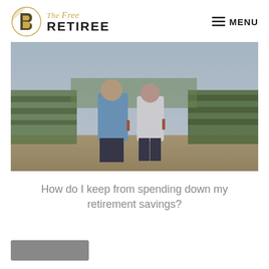THE Free RETIREE | MENU
[Figure (photo): An older couple walking through a vineyard, man in blue shirt and woman in white top, both holding wine glasses, surrounded by grapevines]
How do I keep from spending down my retirement savings?